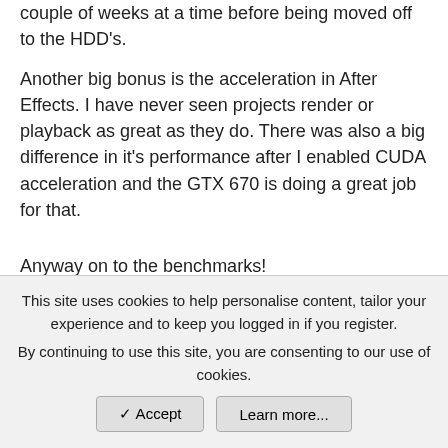am working on, so these files are only stored there for a couple of weeks at a time before being moved off to the HDD's.
Another big bonus is the acceleration in After Effects. I have never seen projects render or playback as great as they do. There was also a big difference in it's performance after I enabled CUDA acceleration and the GTX 670 is doing a great job for that.
Anyway on to the benchmarks!
Geekbench Results
Here's my Geekbench results. At the moment I only have the
This site uses cookies to help personalise content, tailor your experience and to keep you logged in if you register.
By continuing to use this site, you are consenting to our use of cookies.